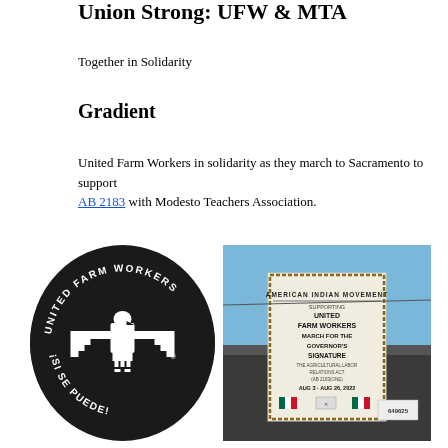Union Strong: UFW & MTA
Together in Solidarity
Gradient
United Farm Workers in solidarity as they march to Sacramento to support AB 2183 with Modesto Teachers Association.
[Figure (logo): United Farm Workers circular logo in black and white with eagle symbol and text 'UNITED FARM WORKERS' and '¡SI SE PUEDE!']
[Figure (photo): Photo of a banner reading 'American Indian Movement Supporting United Farm Workers March for the Governor's Signature The Agricultural Labor Relations Act (AB 2183) Aug 3 - Aug 26, 2022' on a truck.]